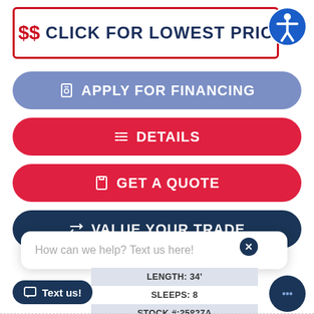[Figure (screenshot): Top banner with red border showing '$$ CLICK FOR LOWEST PRICE' text and accessibility icon]
[Figure (screenshot): Blue pill button: Apply for Financing with document-dollar icon]
[Figure (screenshot): Red pill button: Details with list icon]
[Figure (screenshot): Red pill button: Get a Quote with document icon]
[Figure (screenshot): Dark navy pill button: Value Your Trade with arrows icon]
How can we help? Text us here!
LENGTH: 34'
SLEEPS: 8
STOCK #:25827A